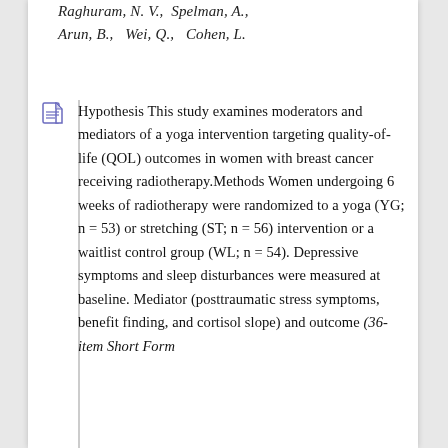Raghuram, N. V., Spelman, A., Arun, B., Wei, Q., Cohen, L.
Hypothesis This study examines moderators and mediators of a yoga intervention targeting quality-of-life (QOL) outcomes in women with breast cancer receiving radiotherapy.Methods Women undergoing 6 weeks of radiotherapy were randomized to a yoga (YG; n = 53) or stretching (ST; n = 56) intervention or a waitlist control group (WL; n = 54). Depressive symptoms and sleep disturbances were measured at baseline. Mediator (posttraumatic stress symptoms, benefit finding, and cortisol slope) and outcome (36-item Short Form...